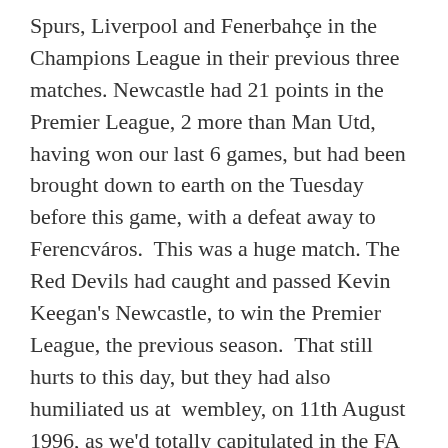Spurs, Liverpool and Fenerbahçe in the Champions League in their previous three matches. Newcastle had 21 points in the Premier League, 2 more than Man Utd, having won our last 6 games, but had been brought down to earth on the Tuesday before this game, with a defeat away to Ferencváros.  This was a huge match.  The Red Devils had caught and passed Kevin Keegan's Newcastle, to win the Premier League, the previous season.  That still hurts to this day, but they had also humiliated us at  wembley, on 11th August 1996, as we'd totally capitulated in the FA Charity Shield match, with myself and many other Geordies thinking that was going to be the first of many trophies to come.  Little did we, really, know!
I very nearly didn't make it to the game that day, though.  I'd met a girl from Dublin, on the way home